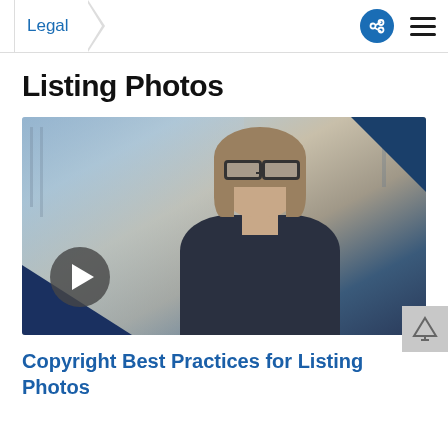Legal
Listing Photos
[Figure (photo): Video thumbnail showing a woman with glasses smiling, wearing a dark blazer, with a city skyline visible through windows in the background. A play button overlay is visible in the lower left. Blue decorative corner accents are present in the top right and bottom left.]
Copyright Best Practices for Listing Photos